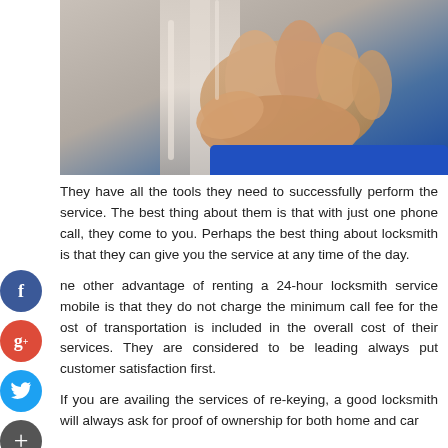[Figure (photo): Close-up photo of a hand gripping a car door handle or metal bar, wearing a blue sleeve, locksmith-related imagery]
They have all the tools they need to successfully perform the service. The best thing about them is that with just one phone call, they come to you. Perhaps the best thing about locksmith is that they can give you the service at any time of the day.
One other advantage of renting a 24-hour locksmith service mobile is that they do not charge the minimum call fee for the cost of transportation is included in the overall cost of their services. They are considered to be leading always put customer satisfaction first.
If you are availing the services of re-keying, a good locksmith will always ask for proof of ownership for both home and car